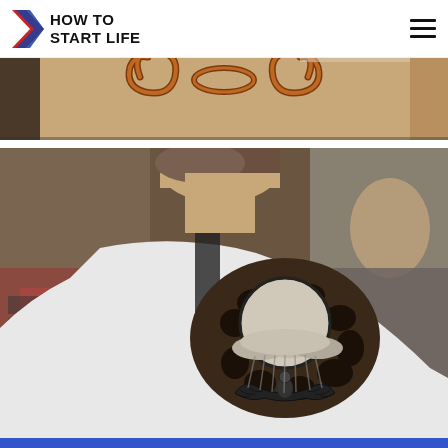HOW TO START LIFE
[Figure (photo): Close-up photo of a tattoo on someone's arm showing a decorative swirl/mustache-like design in brown/orange tones on skin, partially cropped at top of page]
[Figure (photo): Photo of a person's shoulder/neck area showing a large black and grey tattoo featuring a moon, clouds, and an angel/bird figure with wings spread. The person is wearing a white sleeveless top. Background shows a tattoo convention or shop setting.]